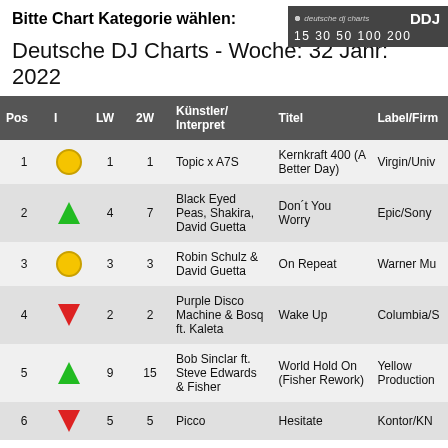Bitte Chart Kategorie wählen:
[Figure (logo): Deutsche DJ Charts logo with DDJ branding and category selectors: 15 30 50 100 200]
Deutsche DJ Charts - Woche: 32 Jahr: 2022
| Pos | I | LW | 2W | Künstler/Interpret | Titel | Label/Firm |
| --- | --- | --- | --- | --- | --- | --- |
| 1 | ● | 1 | 1 | Topic x A7S | Kernkraft 400 (A Better Day) | Virgin/Univ |
| 2 | ↑ | 4 | 7 | Black Eyed Peas, Shakira, David Guetta | Don´t You Worry | Epic/Sony |
| 3 | ● | 3 | 3 | Robin Schulz & David Guetta | On Repeat | Warner Mu |
| 4 | ↓ | 2 | 2 | Purple Disco Machine & Bosq ft. Kaleta | Wake Up | Columbia/S |
| 5 | ↑ | 9 | 15 | Bob Sinclar ft. Steve Edwards & Fisher | World Hold On (Fisher Rework) | Yellow Production |
| 6 | ↓ | 5 | 5 | Picco | Hesitate | Kontor/KN |